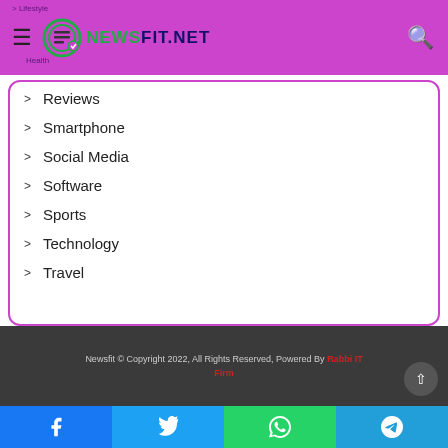NEWSFIT.NET
Reviews
Smartphone
Social Media
Software
Sports
Technology
Travel
Newsfit © Copyright 2022, All Rights Reserved, Powered By Rabbi IT Firm